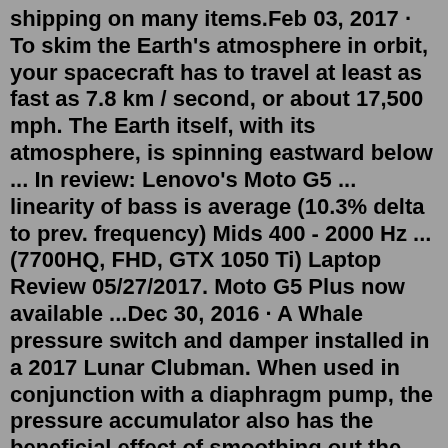shipping on many items.Feb 03, 2017 · To skim the Earth's atmosphere in orbit, your spacecraft has to travel at least as fast as 7.8 km / second, or about 17,500 mph. The Earth itself, with its atmosphere, is spinning eastward below ... In review: Lenovo's Moto G5 ... linearity of bass is average (10.3% delta to prev. frequency) Mids 400 - 2000 Hz ... (7700HQ, FHD, GTX 1050 Ti) Laptop Review 05/27/2017. Moto G5 Plus now available ...Dec 30, 2016 · A Whale pressure switch and damper installed in a 2017 Lunar Clubman. When used in conjunction with a diaphragm pump, the pressure accumulator also has the beneficial effect of smoothing out the pressure surges from the individual chambers within the pump. This gives rise to its more common name - that of a 'surge damper'. Jun 06, 2014 · Assuming that Theia was Mars-sized and had a chondritic Nb/Ta ratio, the most likely mass fraction of Theia in the Moon was estimated to Mi ~ 30 to 50 wt % ( 18 ). This translates to δ fT ~ –21 to –44 for the assumed Mars-